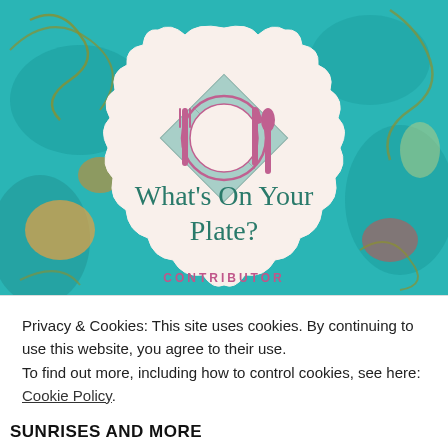[Figure (illustration): Blog logo for 'What's On Your Plate?' featuring a plate setting icon with fork, knife, spoon and a diamond-shaped placemat, set inside a cream-colored scalloped badge shape, over a colorful abstract teal/orange background. Text 'What's On Your Plate?' in teal serif font inside the badge, and 'CONTRIBUTOR' in pink caps partially visible below.]
Privacy & Cookies: This site uses cookies. By continuing to use this website, you agree to their use.
To find out more, including how to control cookies, see here: Cookie Policy
CLOSE AND ACCEPT
SUNRISES AND MORE